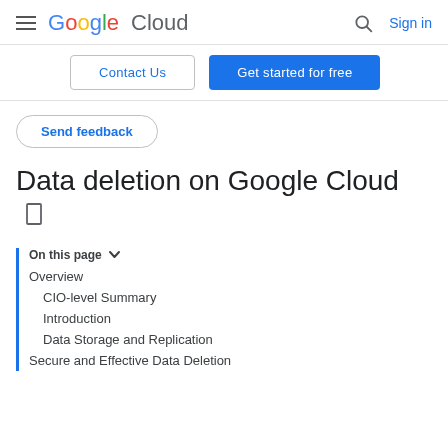Google Cloud  Sign in
Contact Us  Get started for free
Send feedback
Data deletion on Google Cloud
On this page
Overview
CIO-level Summary
Introduction
Data Storage and Replication
Secure and Effective Data Deletion